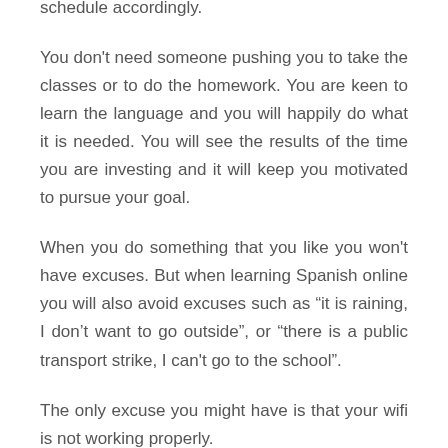schedule accordingly.
You don't need someone pushing you to take the classes or to do the homework. You are keen to learn the language and you will happily do what it is needed. You will see the results of the time you are investing and it will keep you motivated to pursue your goal.
When you do something that you like you won't have excuses. But when learning Spanish online you will also avoid excuses such as “it is raining, I don’t want to go outside”, or “there is a public transport strike, I can't go to the school”.
The only excuse you might have is that your wifi is not working properly.